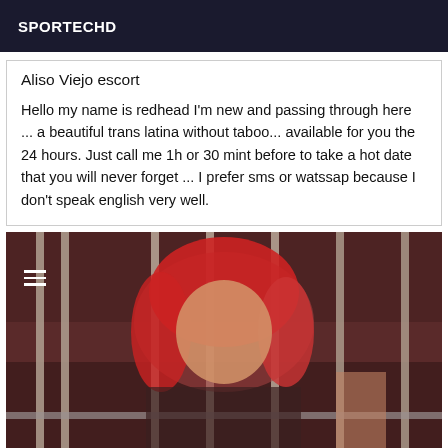SPORTECHD
Aliso Viejo escort
Hello my name is redhead I'm new and passing through here ... a beautiful trans latina without taboo... available for you the 24 hours. Just call me 1h or 30 mint before to take a hot date that you will never forget ... I prefer sms or watssap because I don't speak english very well.
[Figure (photo): A person with red hair behind metal bars, wearing jewelry and a necklace, with brick wall background.]